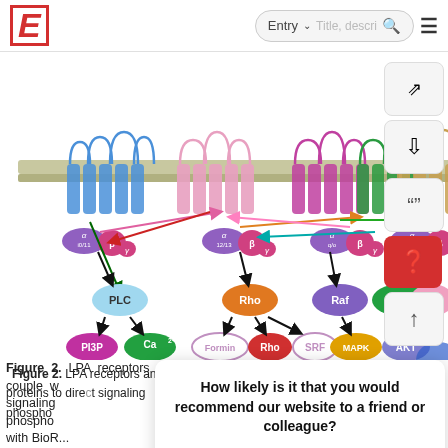E  Entry  Title, descri... [search] [menu]
[Figure (illustration): Scientific diagram showing LPA receptors and G proteins signaling pathways. Multiple transmembrane receptor structures are shown embedded in a membrane, with G protein subunits (alpha, beta, gamma) and downstream signaling molecules including PLC, Rho, Raf, PI3K, AC, PI3P, Ca2+, Formin, Rho, SRF, MAPK, AKT. Colored arrows indicate signaling connections between components.]
Figure 2. LPA receptors and G proteins. A receptors couple with distinct G proteins to direct signaling pathways. K. phospho... Created with BioR...